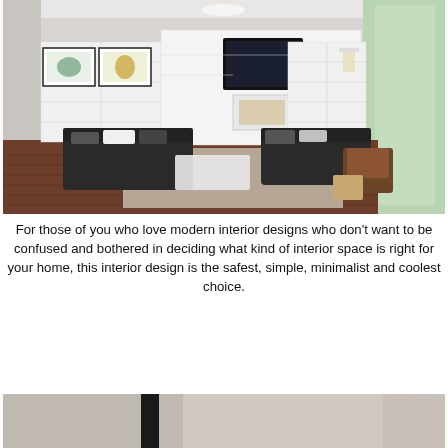[Figure (photo): Modern minimalist living room with dark sofas, white built-in shelving, fireplace, TV, hardwood floors, large windows with natural light, framed artwork, and decorative chandelier.]
For those of you who love modern interior designs who don't want to be confused and bothered in deciding what kind of interior space is right for your home, this interior design is the safest, simple, minimalist and coolest choice.
image source
[Figure (photo): Partial view of a minimalist bedroom with dark vertical panel or curtain and light beige/grey walls.]